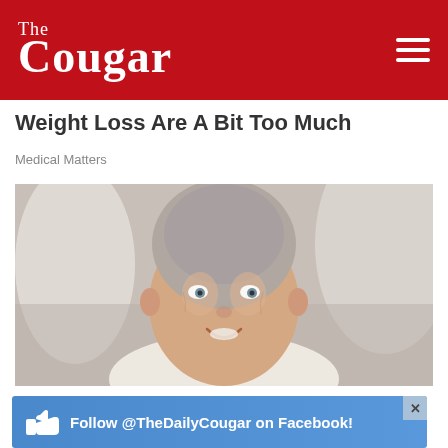The Cougar
Weight Loss Are A Bit Too Much
Medical Matters
[Figure (photo): Smiling elderly woman with grey hair pulled back, wearing a light top, looking at camera in a bright indoor setting.]
The Actual Cost of One Day Full Mouth Dental Implants May Surprise You
Follow @TheDailyCougar on Facebook!